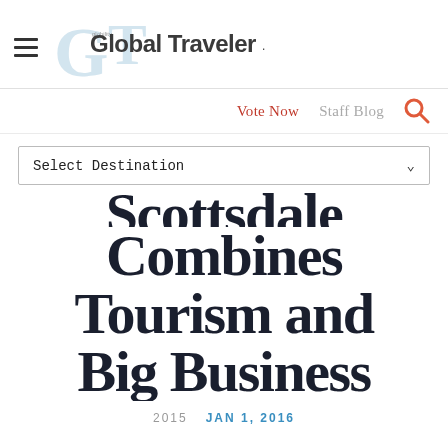Global Traveler
Vote Now   Staff Blog
Select Destination
Scottsdale Combines Tourism and Big Business
2015   JAN 1, 2016